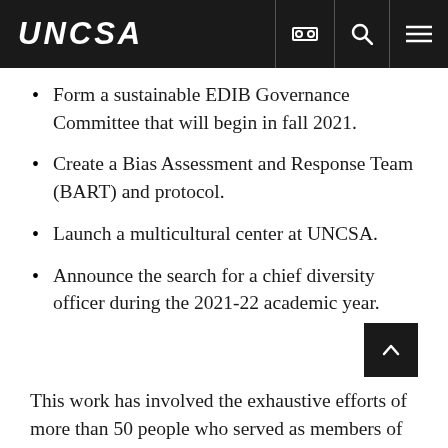UNCSA
Form a sustainable EDIB Governance Committee that will begin in fall 2021.
Create a Bias Assessment and Response Team (BART) and protocol.
Launch a multicultural center at UNCSA.
Announce the search for a chief diversity officer during the 2021-22 academic year.
This work has involved the exhaustive efforts of more than 50 people who served as members of our cross-campus EDIB Advisory Committee, led by